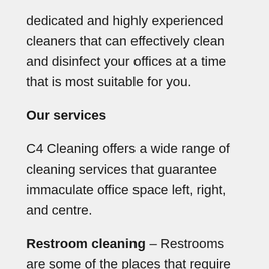dedicated and highly experienced cleaners that can effectively clean and disinfect your offices at a time that is most suitable for you.
Our services
C4 Cleaning offers a wide range of cleaning services that guarantee immaculate office space left, right, and centre.
Restroom cleaning – Restrooms are some of the places that require regular cleaning attention because a lot of disease-causing microbes can easily accumulate there. C4 Cleaning is there to ensure your restrooms are always tidy so that both employees and clients